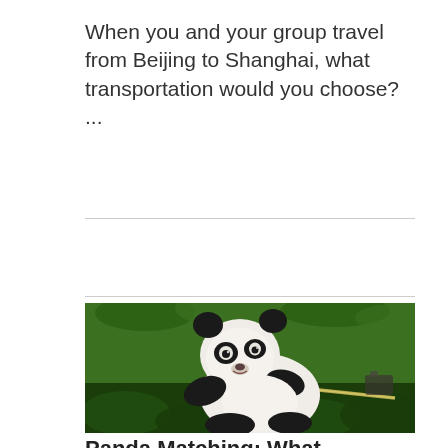When you and your group travel from Beijing to Shanghai, what transportation would you choose? ...
[Figure (photo): A giant panda sitting among green ferns and bamboo, holding a bamboo stick in its paw and appearing to chew on it. The panda has classic black and white coloring, looking at the camera against a lush green background.]
Panda Matching: What...